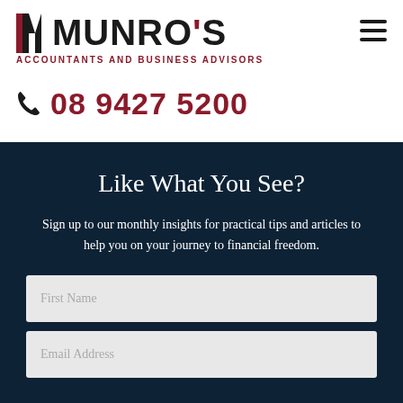[Figure (logo): Munro's Accountants and Business Advisors logo with stylized M icon]
08 9427 5200
Like What You See?
Sign up to our monthly insights for practical tips and articles to help you on your journey to financial freedom.
First Name
Email Address